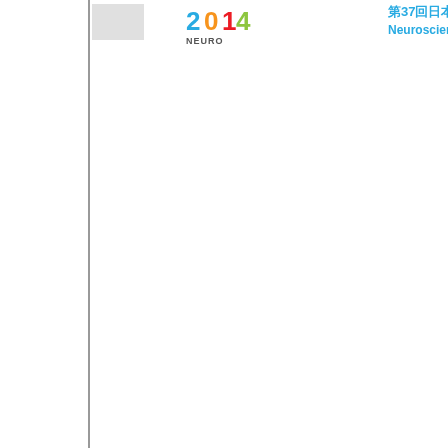[Figure (logo): Neuroscience 2014 logo with colored '2014' text and 'NEURO' text below]
第37回日本神経科学大会 Neuroscience 2014